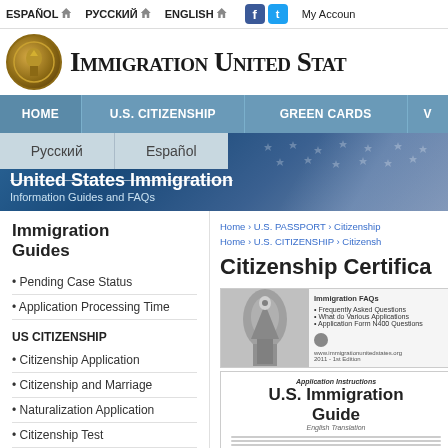ESPAÑOL  РУССКИЙ  ENGLISH  My Account
[Figure (logo): USCIS Immigration eagle seal logo circle]
IMMIGRATION UNITED STATES
HOME | U.S. CITIZENSHIP | GREEN CARDS | V
Русский | Español
United States Immigration
Information Guides and FAQs
Immigration Guides
Pending Case Status
Application Processing Time
US CITIZENSHIP
Citizenship Application
Citizenship and Marriage
Naturalization Application
Citizenship Test
Double Citizenship
Home › U.S. PASSPORT › Citizenship
Home › U.S. CITIZENSHIP › Citizenship
Citizenship Certifica
[Figure (photo): Immigration FAQs booklet with Statue of Liberty image and text]
[Figure (photo): Application Instructions: U.S. Immigration Guide booklet]